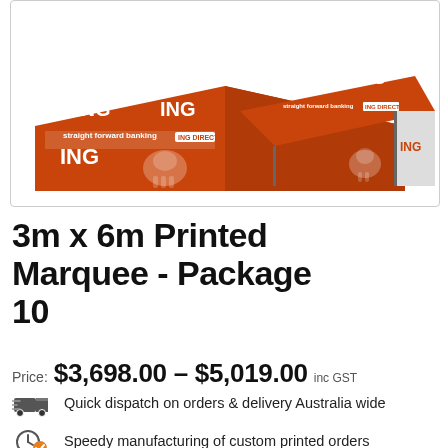[Figure (photo): Two orange ING branded 3m x 6m printed marquee tents shown side by side — one closed and one open — with ING logo, lion mascot, and 'straight forward banking' text on the canopy.]
3m x 6m Printed Marquee - Package 10
Price: $3,698.00 – $5,019.00 inc GST
Quick dispatch on orders & delivery Australia wide
Speedy manufacturing of custom printed orders